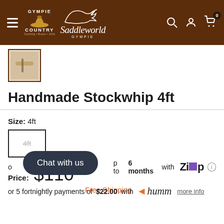Gympie Country Saddleworld Gympie
[Figure (photo): Small product thumbnail image of handmade stockwhip]
Handmade Stockwhip 4ft
Size: 4ft
Price: $110
Free Shipping
or p to 6 months with Zip
or 5 fortnightly payments of $22.00 with humm more info